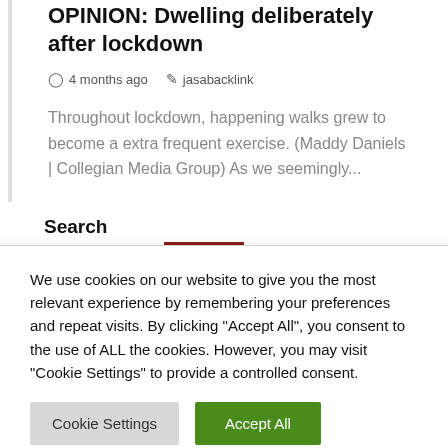OPINION: Dwelling deliberately after lockdown
4 months ago   jasabacklink
Throughout lockdown, happening walks grew to become a extra frequent exercise. (Maddy Daniels | Collegian Media Group) As we seemingly...
Search
We use cookies on our website to give you the most relevant experience by remembering your preferences and repeat visits. By clicking "Accept All", you consent to the use of ALL the cookies. However, you may visit "Cookie Settings" to provide a controlled consent.